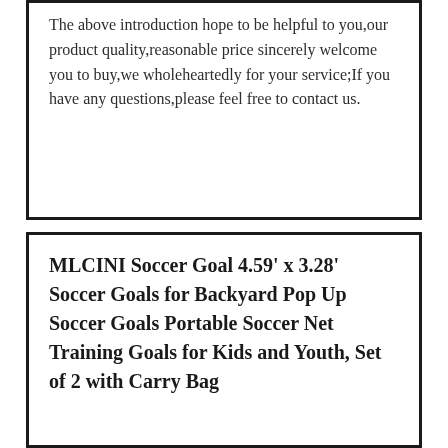The above introduction hope to be helpful to you,our product quality,reasonable price sincerely welcome you to buy,we wholeheartedly for your service;If you have any questions,please feel free to contact us.
MLCINI Soccer Goal 4.59' x 3.28' Soccer Goals for Backyard Pop Up Soccer Goals Portable Soccer Net Training Goals for Kids and Youth, Set of 2 with Carry Bag